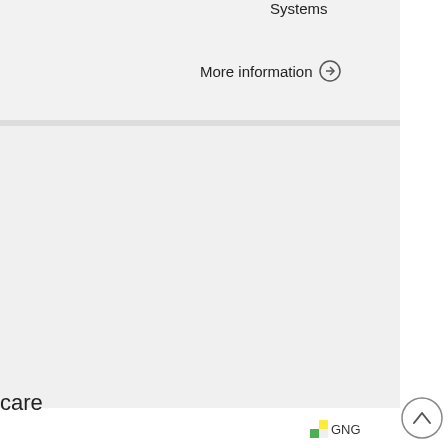Systems
More information →
care
[Figure (logo): GNG logo with green/yellow icon]
[Figure (other): Back to top button — circle with upward chevron arrow]